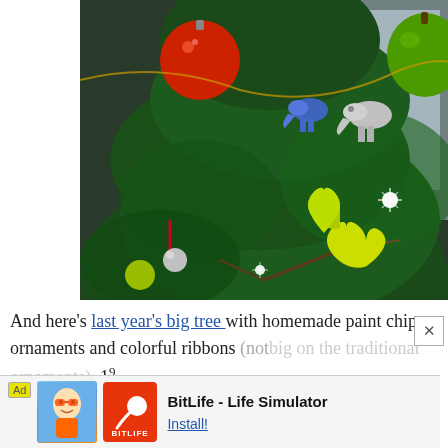[Figure (photo): A decorated Christmas tree with colorful ornaments including a large red ball, green apple-shaped ornament, yellow-green heart ornament, crystal elephant figurines, twinkling lights, and various other decorations. The photo has a dark background with window visible behind the tree.]
And here's last year's big tree with homemade paint chip ornaments and colorful ribbons (not big on the traditional ornaments). 19 more...
[Figure (screenshot): Ad banner for BitLife - Life Simulator app with baby character graphic, red BitLife logo with sperm icon, app title and Install button.]